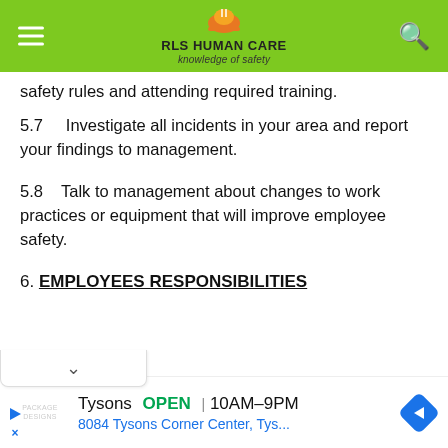RLS HUMAN CARE — knowledge of safety
safety rules and attending required training.
5.7     Investigate all incidents in your area and report your findings to management.
5.8     Talk to management about changes to work practices or equipment that will improve employee safety.
6. EMPLOYEES RESPONSIBILITIES
[Figure (screenshot): Advertisement banner: Tysons OPEN 10AM–9PM, 8084 Tysons Corner Center, Tys... with navigation icon]
Tysons   OPEN  10AM–9PM
8084 Tysons Corner Center, Tys...